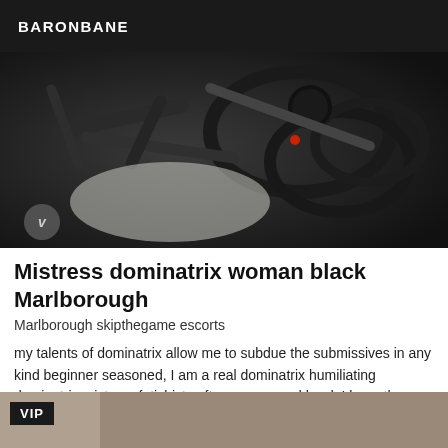BARONBANE
[Figure (photo): Dark photograph showing black BDSM equipment including ropes, tubes, and restraint gear on a light surface, with a circular logo watermark in the bottom left]
Mistress dominatrix woman black Marlborough
Marlborough skipthegame escorts
my talents of dominatrix allow me to subdue the submissives in any kind beginner seasoned, I am a real dominatrix humiliating dominatrix mistress fetishist soft or severe and hard, I have the material for any kind of domination then contact me.
[Figure (photo): Partial view of a second listing card with a VIP badge in the top left corner and a brownish/tan background]